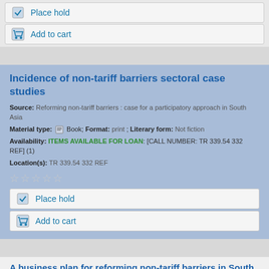Place hold
Add to cart
Incidence of non-tariff barriers sectoral case studies
Source: Reforming non-tariff barriers : case for a participatory approach in South Asia
Material type: Book; Format: print ; Literary form: Not fiction
Availability: ITEMS AVAILABLE FOR LOAN: [CALL NUMBER: TR 339.54 332 REF] (1)
Location(s): TR 339.54 332 REF
Place hold
Add to cart
A business plan for reforming non-tariff barriers in South Asia